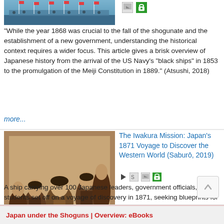[Figure (photo): Top portion of a historical image showing what appears to be a Japanese naval or military scene]
[Figure (other): Image icon placeholder and green lock/open access icon]
"While the year 1868 was crucial to the fall of the shogunate and the establishment of a new government, understanding the historical context requires a wider focus. This article gives a brisk overview of Japanese history from the arrival of the US Navy's “black ships” in 1853 to the promulgation of the Meiji Constitution in 1889." (Atsushi, 2018)
more...
[Figure (photo): Sepia historical photograph of five Japanese men in Western and traditional clothing, likely members of the Iwakura Mission, circa 1871]
The Iwakura Mission: Japan’s 1871 Voyage to Discover the Western World (Saburō, 2019)
A ship carrying over 100 Japanese leaders, government officials, and students set off on a voyage of discovery in 1871, seeking blueprints for constructing a modern nation. (Saburō, 2019)
more...
Japan under the Shoguns | Overview: eBooks